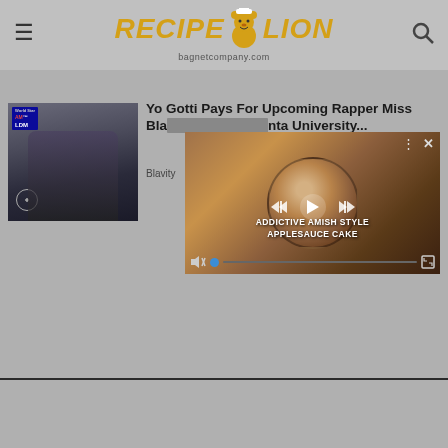RecipeLion | bagnetcompany.com
[Figure (screenshot): Article thumbnail showing Yo Gotti with praying hands gesture, wearing dark jacket, with radio station logo overlay]
Yo Gotti Pays For Upcoming Rapper Miss Blanco's Clark Atlanta University...
Blavity
[Figure (screenshot): Video overlay showing Addictive Amish Style Applesauce Cake recipe video with cake image, playback controls, mute, close and expand buttons]